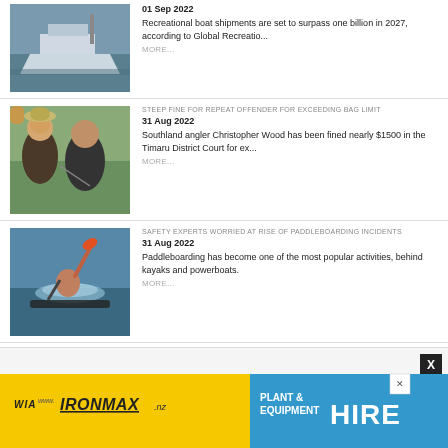[Figure (photo): Recreational boat on water at a marina]
01 Sep 2022
Recreational boat shipments are set to surpass one billion in 2027, according to Global Recreatio...
MORE...
[Figure (photo): Man being checked by official at outdoor fishing event]
STEEP FINE FOR REPEAT OFFENDER FOR EXCEEDING BAG LIMIT
31 Aug 2022
Southland angler Christopher Wood has been fined nearly $1500 in the Timaru District Court for ex...
MORE...
[Figure (photo): Paddleboarder falling into water with paddle raised]
SAFETY EXPERTS WORRIED AT RISE OF PADDLEBOARDING INCIDENTS
31 Aug 2022
Paddleboarding has become one of the most popular activities, behind kayaks and powerboats.
MORE...
[Figure (illustration): IronMax plant and equipment hire advertisement banner in yellow and blue]